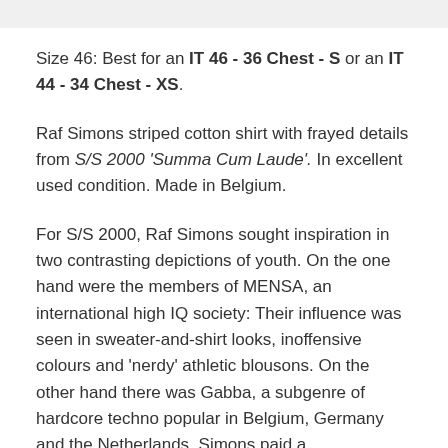Size 46: Best for an IT 46 - 36 Chest - S or an IT 44 - 34 Chest - XS.
Raf Simons striped cotton shirt with frayed details from S/S 2000 'Summa Cum Laude'. In excellent used condition. Made in Belgium.
For S/S 2000, Raf Simons sought inspiration in two contrasting depictions of youth. On the one hand were the members of MENSA, an international high IQ society: Their influence was seen in sweater-and-shirt looks, inoffensive colours and 'nerdy' athletic blousons. On the other hand there was Gabba, a subgenre of hardcore techno popular in Belgium, Germany and the Netherlands. Simons paid a